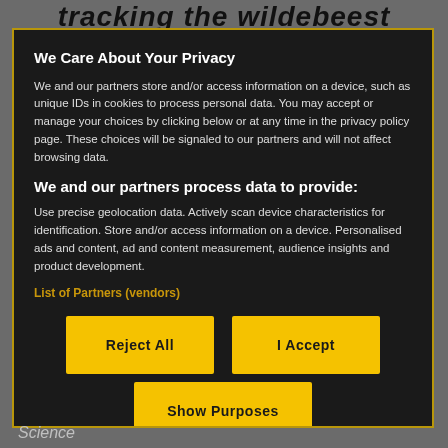tracking the wildebeest
We Care About Your Privacy
We and our partners store and/or access information on a device, such as unique IDs in cookies to process personal data. You may accept or manage your choices by clicking below or at any time in the privacy policy page. These choices will be signaled to our partners and will not affect browsing data.
We and our partners process data to provide:
Use precise geolocation data. Actively scan device characteristics for identification. Store and/or access information on a device. Personalised ads and content, ad and content measurement, audience insights and product development.
List of Partners (vendors)
Reject All
I Accept
Show Purposes
Science